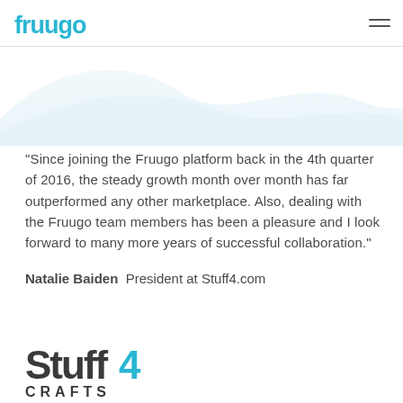[Figure (logo): Fruugo logo in teal/cyan color with rounded lettering]
“Since joining the Fruugo platform back in the 4th quarter of 2016, the steady growth month over month has far outperformed any other marketplace. Also, dealing with the Fruugo team members has been a pleasure and I look forward to many more years of successful collaboration.”
Natalie Baiden  President at Stuff4.com
[Figure (logo): Stuff4 Crafts logo with dark grey 'Stuff4' text and teal '4' accent]